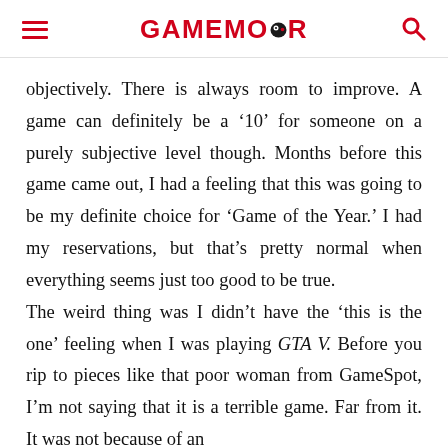GAMEMOIR
objectively. There is always room to improve. A game can definitely be a ‘10’ for someone on a purely subjective level though. Months before this game came out, I had a feeling that this was going to be my definite choice for ‘Game of the Year.’ I had my reservations, but that’s pretty normal when everything seems just too good to be true.
The weird thing was I didn’t have the ‘this is the one’ feeling when I was playing GTA V. Before you rip to pieces like that poor woman from GameSpot, I’m not saying that it is a terrible game. Far from it. It was not because of an